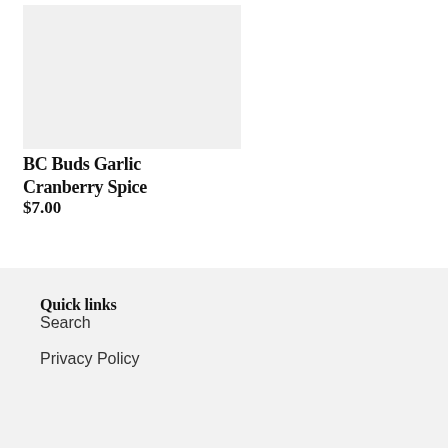[Figure (photo): Product image placeholder — light grey rectangle]
BC Buds Garlic Cranberry Spice
$7.00
Quick links
Search
Privacy Policy